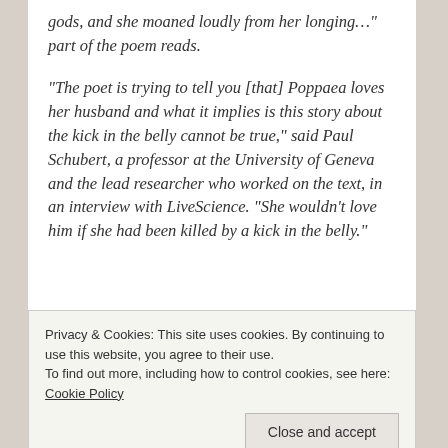gods, and she moaned loudly from her longing…" part of the poem reads.
"The poet is trying to tell you [that] Poppaea loves her husband and what it implies is this story about the kick in the belly cannot be true," said Paul Schubert, a professor at the University of Geneva and the lead researcher who worked on the text, in an interview with LiveScience. "She wouldn't love him if she had been killed by a kick in the belly"
Privacy & Cookies: This site uses cookies. By continuing to use this website, you agree to their use. To find out more, including how to control cookies, see here: Cookie Policy
Close and accept
(Mercury), "bolt of the Aegir beams"